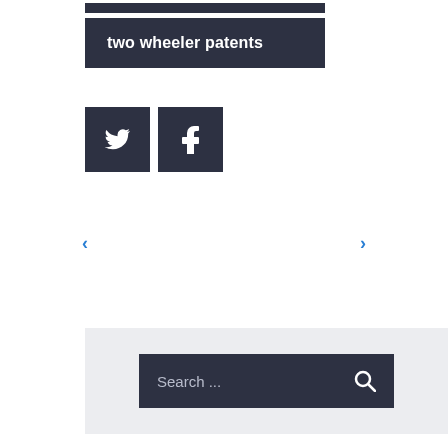two wheeler patents
[Figure (other): Twitter social share button (dark navy square with bird icon)]
[Figure (other): Facebook social share button (dark navy square with 'f' icon)]
‹
›
Search ...